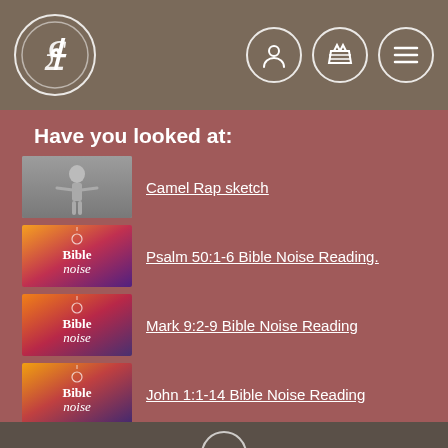Navigation header with logo and icons
Have you looked at:
[Figure (screenshot): Thumbnail image of child with arms outstretched, black and white photo]
Camel Rap sketch
[Figure (screenshot): Bible Noise branded thumbnail with orange-red gradient]
Psalm 50:1-6 Bible Noise Reading.
[Figure (screenshot): Bible Noise branded thumbnail with orange-red gradient]
Mark 9:2-9 Bible Noise Reading
[Figure (screenshot): Bible Noise branded thumbnail with orange-yellow gradient]
John 1:1-14 Bible Noise Reading
[Figure (screenshot): Bible Noise branded thumbnail with yellow-orange gradient]
Isaiah 40:21-31 Bible Noise Reading
Footer with partial logo